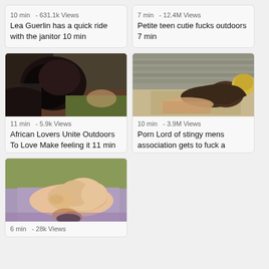[Figure (other): Video thumbnail card top-left: meta '10 min  - 631.1k Views', title 'Lea Guerlin has a quick ride with the janitor 10 min']
[Figure (other): Video thumbnail card top-right: meta '7 min  - 12.4M Views', title 'Petite teen cutie fucks outdoors 7 min']
[Figure (photo): Video thumbnail card middle-left: outdoor scene, dark-haired person, meta '11 min  - 5.9k Views', title 'African Lovers Unite Outdoors To Love Make feeling it 11 min']
[Figure (photo): Video thumbnail card middle-right: outdoor scene, meta '10 min  - 3.9M Views', title 'Porn Lord of stingy mens association gets to fuck a']
[Figure (photo): Video thumbnail card bottom-left: outdoor scene, meta '6 min  - 28k Views']